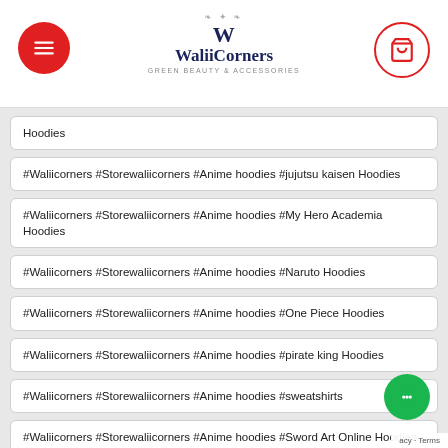WaliiCorners
#Waliicorners #Storewaliicorners #Anime hoodies #jujutsu kaisen Hoodies
#Waliicorners #Storewaliicorners #Anime hoodies #My Hero Academia Hoodies
#Waliicorners #Storewaliicorners #Anime hoodies #Naruto Hoodies
#Waliicorners #Storewaliicorners #Anime hoodies #One Piece Hoodies
#Waliicorners #Storewaliicorners #Anime hoodies #pirate king Hoodies
#Waliicorners #Storewaliicorners #Anime hoodies #sweatshirts
#Waliicorners #Storewaliicorners #Anime hoodies #Sword Art Online Hoodies
#Waliicorners #Storewaliicorners #Anime hoodies #Tokyo Gh... Hoodies